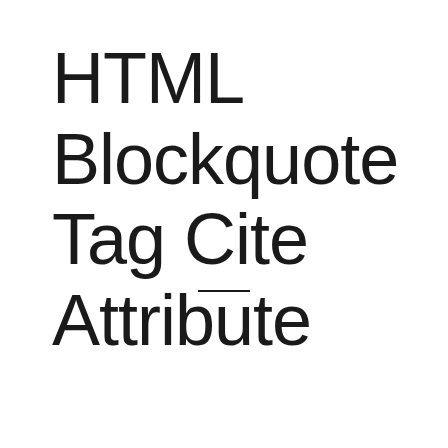HTML Blockquote Tag Cite Attribute
[Figure (other): Horizontal decorative divider line]